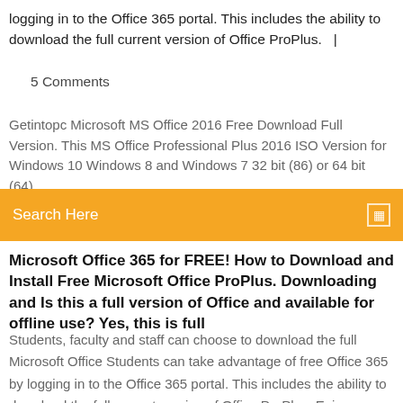logging in to the Office 365 portal. This includes the ability to download the full current version of Office ProPlus.   |
5 Comments
Getintopc Microsoft MS Office 2016 Free Download Full Version. This MS Office Professional Plus 2016 ISO Version for Windows 10 Windows 8 and Windows 7 32 bit (86) or 64 bit (64).
Search Here
Microsoft Office 365 for FREE! How to Download and Install Free Microsoft Office ProPlus. Downloading and Is this a full version of Office and available for offline use? Yes, this is full
Students, faculty and staff can choose to download the full Microsoft Office Students can take advantage of free Office 365 by logging in to the Office 365 portal. This includes the ability to download the full current version of Office ProPlus. Enjoy your free subscription as long as you're a current employee or active student enrolled in classes. Compatible with PC or Mac